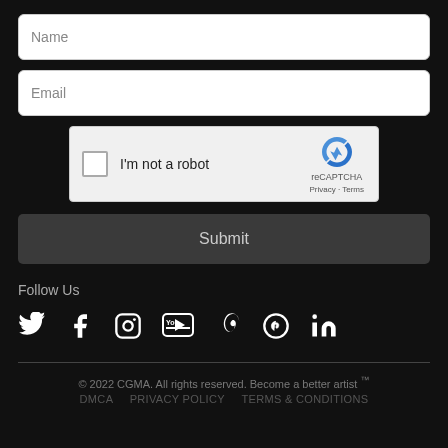Name
Email
[Figure (other): reCAPTCHA widget with checkbox 'I'm not a robot' and reCAPTCHA logo with Privacy and Terms links]
Submit
Follow Us
[Figure (other): Social media icons: Twitter, Facebook, Instagram, YouTube, Vimeo, Pinterest, LinkedIn]
© 2022 CGMA. All rights reserved. Become a better artist ™
DMCA    PRIVACY POLICY    TERMS & CONDITIONS